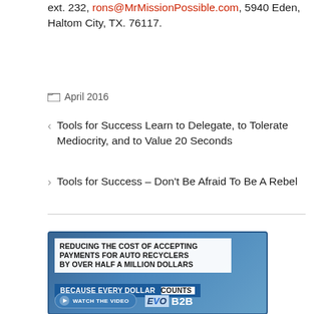ext. 232, rons@MrMissionPossible.com, 5940 Eden, Haltom City, TX. 76117.
April 2016
< Tools for Success Learn to Delegate, to Tolerate Mediocrity, and to Value 20 Seconds
> Tools for Success – Don't Be Afraid To Be A Rebel
[Figure (infographic): Advertisement banner: 'REDUCING THE COST OF ACCEPTING PAYMENTS FOR AUTO RECYCLERS BY OVER HALF A MILLION DOLLARS. BECAUSE EVERY DOLLAR COUNTS. WATCH THE VIDEO. EVO B2B']